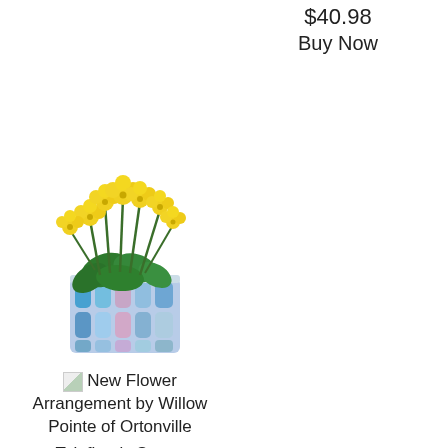$40.98
Buy Now
[Figure (photo): Yellow kalanchoe plant with bright yellow flower clusters in a mosaic-patterned blue and pink cylindrical pot]
New Flower Arrangement by Willow Pointe of Ortonville
Teleflora's Sunny Kalanchoe
$43.99
Buy Now